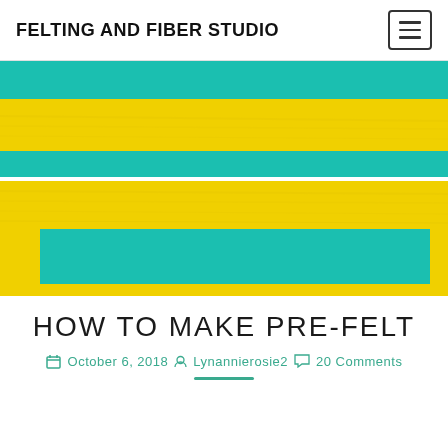FELTING AND FIBER STUDIO
[Figure (photo): Close-up photograph of felted fabric showing yellow and teal/cyan colored wool felt in two horizontal panels. The top panel shows bright yellow felt with teal shapes at top and a band at the bottom. The bottom panel shows yellow felt with a large teal rectangular block in the lower portion.]
HOW TO MAKE PRE-FELT
October 6, 2018  Lynannierosie2  20 Comments